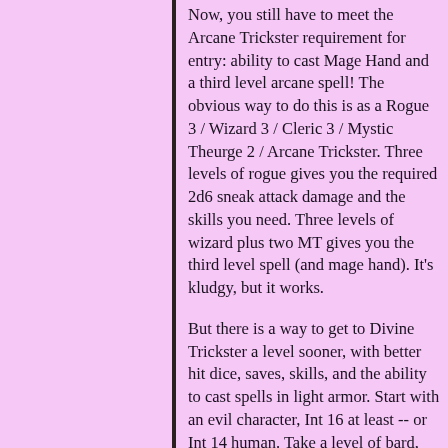Now, you still have to meet the Arcane Trickster requirement for entry: ability to cast Mage Hand and a third level arcane spell! The obvious way to do this is as a Rogue 3 / Wizard 3 / Cleric 3 / Mystic Theurge 2 / Arcane Trickster. Three levels of rogue gives you the required 2d6 sneak attack damage and the skills you need. Three levels of wizard plus two MT gives you the third level spell (and mage hand). It's kludgy, but it works.
But there is a way to get to Divine Trickster a level sooner, with better hit dice, saves, skills, and the ability to cast spells in light armor. Start with an evil character, Int 16 at least -- or Int 14 human. Take a level of bard, for four ranks each in Hide, Move, Disguise, Know Arcana, Know Religion, Decipher Script, Disable Device, Escape Artist, Perform, and the ability to cast mage hand. (If you have extra ranks, consider Tumble and Sleight of Hand, IMO.)